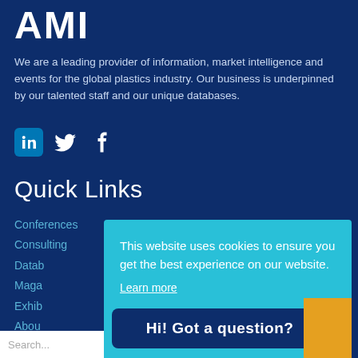AMI
We are a leading provider of information, market intelligence and events for the global plastics industry. Our business is underpinned by our talented staff and our unique databases.
[Figure (illustration): Social media icons: LinkedIn, Twitter, Facebook on dark blue background]
Quick Links
Conferences
Consulting
Datab...
Maga...
Exhib...
Abou...
Cont...
News...
Jobs
This website uses cookies to ensure you get the best experience on our website.
Learn more
Hi! Got a question?